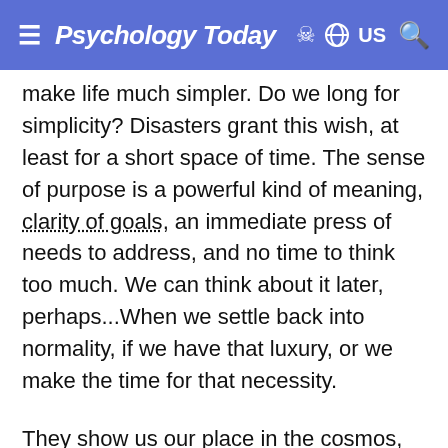Psychology Today
make life much simpler. Do we long for simplicity? Disasters grant this wish, at least for a short space of time. The sense of purpose is a powerful kind of meaning, clarity of goals, an immediate press of needs to address, and no time to think too much. We can think about it later, perhaps...When we settle back into normality, if we have that luxury, or we make the time for that necessity.
They show us our place in the cosmos, how tiny we are and how great we are. The show us the full scope of humankind's evil and grace, and the fierce power of nature in the face of which nothing can stand. Sometimes they show us what the